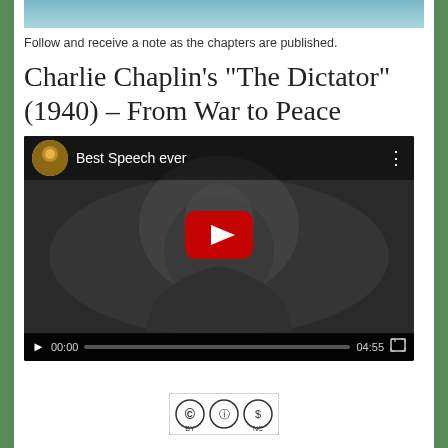Follow and receive a note as the chapters are published.
Charlie Chaplin's “The Dictator” (1940) – From War to Peace
[Figure (screenshot): Embedded YouTube video player showing 'Best Speech ever' video. Black and white thumbnail of a man's face (Charlie Chaplin). Controls show 00:00 / 04:55.]
[Figure (logo): Creative Commons BY NC license logo]